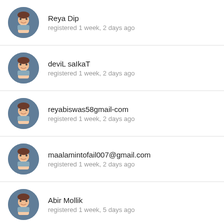Reya Dip
registered 1 week, 2 days ago
deviL saIkaT
registered 1 week, 2 days ago
reyabiswas58gmail-com
registered 1 week, 2 days ago
maalamintofail007@gmail.com
registered 1 week, 2 days ago
Abir Mollik
registered 1 week, 5 days ago
Minhaz R. Luis
registered 1 week, 5 days ago
Md Mamun
(partial)